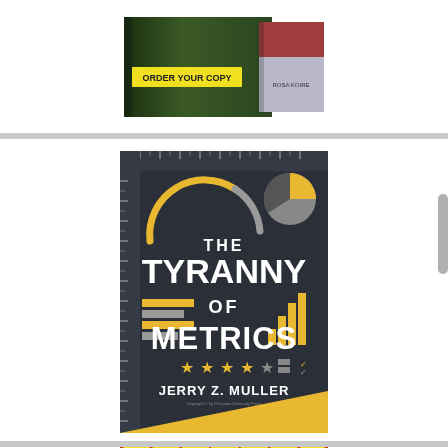[Figure (photo): Book cover partially visible at top with yellow 'ORDER YOUR COPY' banner on dark green background, with another book cover visible to the right]
[Figure (photo): Book cover: 'The Tyranny of Metrics' by Jerry Z. Muller. Dark charcoal background with yellow and grey design elements including arc gauge, pie chart, bar charts, horizontal bars, and five stars. White bold title text.]
[Figure (photo): Bottom of page shows top of another book cover with yellow sunburst/rays design, partially cut off]